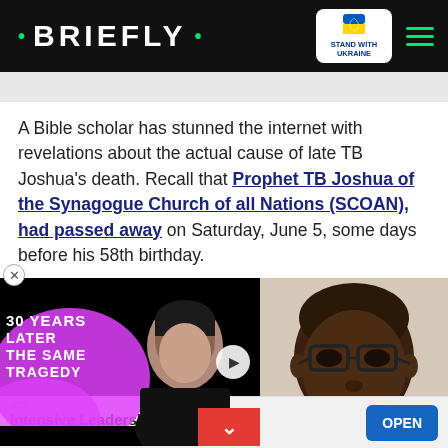· BRIEFLY · [Stand with Ukraine badge] [hamburger menu]
A Bible scholar has stunned the internet with revelations about the actual cause of late TB Joshua's death. Recall that Prophet TB Joshua of the Synagogue Church of all Nations (SCOAN), had passed away on Saturday, June 5, some days before his 58th birthday.
[Figure (screenshot): Video thumbnail showing text '30 YEARS LATER THE SAME TRAGEDY' with a man's face on a pink background, and a close/down button overlay. Next to it is a photo of a Black man wearing glasses speaking.]
[Figure (screenshot): Advertisement banner: ATD - Intensive Leadership Training with OPEN button]